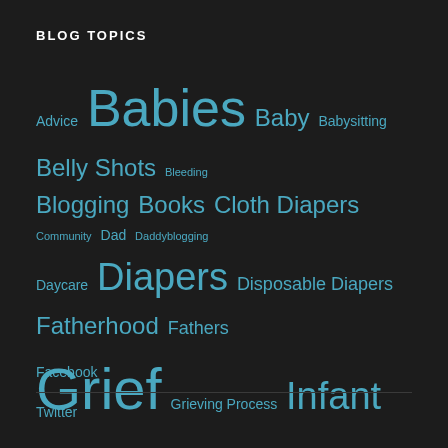BLOG TOPICS
Advice Babies Baby Babysitting Belly Shots Bleeding Blogging Books Cloth Diapers Community Dad Daddyblogging Daycare Diapers Disposable Diapers Fatherhood Fathers Grief Grieving Process Infant Loss Journey Loss Miscarriage Music Parenting Photos Prayer Pregnancy Pregnant Belly Remembering Reviews RSS Shopping Sleep Smiles Stillbirth Subscribe Theology Toys Twins Ultrasound Ultrasounds Video Videos YouTube
Facebook
Twitter